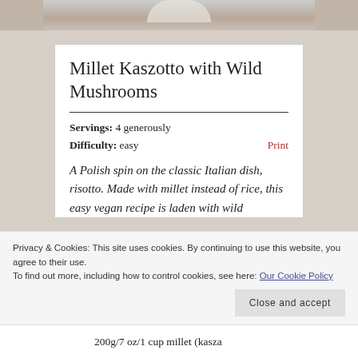[Figure (photo): Partial photo of a dish, cropped at top of page]
Millet Kaszotto with Wild Mushrooms
Servings: 4 generously
Difficulty: easy
Print
A Polish spin on the classic Italian dish, risotto. Made with millet instead of rice, this easy vegan recipe is laden with wild
Privacy & Cookies: This site uses cookies. By continuing to use this website, you agree to their use.
To find out more, including how to control cookies, see here: Our Cookie Policy
Close and accept
200g/7 oz/1 cup millet (kasza